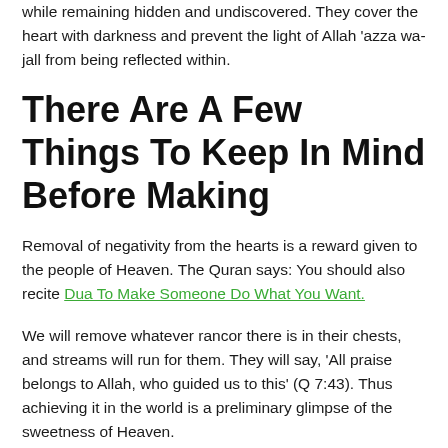while remaining hidden and undiscovered. They cover the heart with darkness and prevent the light of Allah ‘azza wa-jall from being reflected within.
There Are A Few Things To Keep In Mind Before Making
Removal of negativity from the hearts is a reward given to the people of Heaven. The Quran says: You should also recite Dua To Make Someone Do What You Want.
We will remove whatever rancor there is in their chests, and streams will run for them. They will say, ‘All praise belongs to Allah, who guided us to this’ (Q 7:43). Thus achieving it in the world is a preliminary glimpse of the sweetness of Heaven.
[Figure (other): WhatsApp consult button with green WhatsApp icon and text 'Consult With Me on WhatsApp' on a grey rounded background]
Negativity between two believers arises when there has been